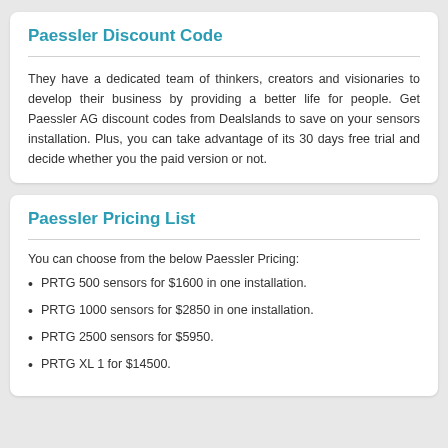Paessler Discount Code
They have a dedicated team of thinkers, creators and visionaries to develop their business by providing a better life for people. Get Paessler AG discount codes from Dealslands to save on your sensors installation. Plus, you can take advantage of its 30 days free trial and decide whether you the paid version or not.
Paessler Pricing List
You can choose from the below Paessler Pricing:
PRTG 500 sensors for $1600 in one installation.
PRTG 1000 sensors for $2850 in one installation.
PRTG 2500 sensors for $5950.
PRTG XL 1 for $14500.